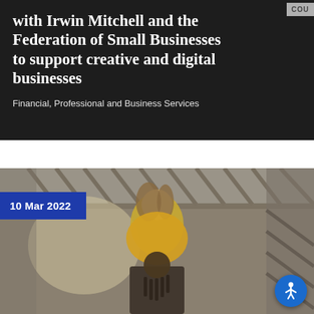with Irwin Mitchell and the Federation of Small Businesses to support creative and digital businesses
Financial, Professional and Business Services
[Figure (photo): Two young people photographed under a steel lattice bridge/structure. A young woman in a large yellow/mustard fluffy sweater sits on the shoulders of a young man. Date badge '10 Mar 2022' in blue overlay in upper left. Accessibility button in lower right corner.]